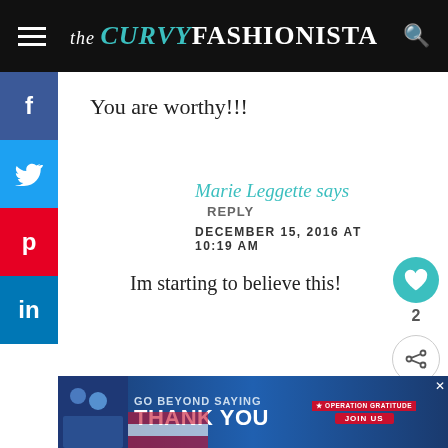the CURVY FASHIONISTA
You are worthy!!!
Marie Leggette says   REPLY
DECEMBER 15, 2016 AT 10:19 AM
Im starting to believe this!
Kimberly Byer-Clark
DECEMBER 15, 2016 AT 10:19 AM
[Figure (screenshot): GO BEYOND SAYING THANK YOU — Operation Gratitude JOIN US advertisement banner]
WHAT'S NEXT → Another Way I am Working...